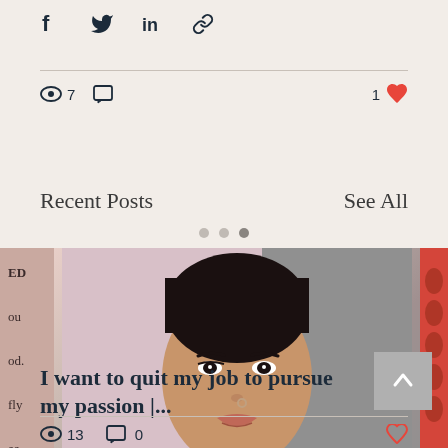[Figure (screenshot): Social media share icons: Facebook (f), Twitter bird, LinkedIn (in), chain/link icon]
7 views, 0 comments, 1 like
Recent Posts
See All
[Figure (photo): Portrait photo of a young Black woman with a nose ring, smiling slightly. Two partial images visible on left and right sides.]
I want to quit my job to pursue my passion |...
13 views, 0 comments, heart/like icon